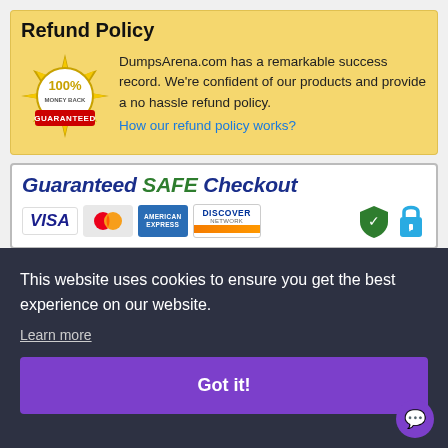Refund Policy
DumpsArena.com has a remarkable success record. We're confident of our products and provide a no hassle refund policy.
How our refund policy works?
[Figure (infographic): Guaranteed SAFE Checkout banner with Visa, MasterCard, American Express, Discover payment logos and security icons]
This website uses cookies to ensure you get the best experience on our website.
Learn more
Got it!